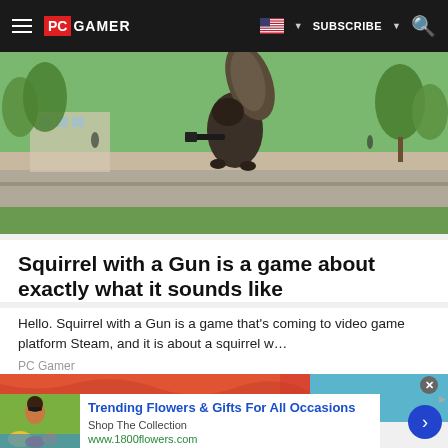PC GAMER | SUBSCRIBE
[Figure (photo): Squirrel on a ledge in a park, viewed from below, showing the squirrel standing on a concrete wall with trees and buildings in background]
Squirrel with a Gun is a game about exactly what it sounds like
Hello. Squirrel with a Gun is a game that’s coming to video game platform Steam, and it is about a squirrel w…
PC Gamer
[Figure (photo): Partial view of red fabric/clothing and blue background]
[Figure (photo): Advertisement image showing woman with flowers]
Trending Flowers & Gifts For All Occasions
Shop The Collection
www.1800flowers.com